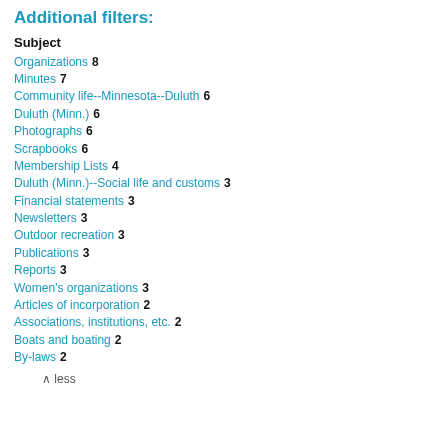Additional filters:
Subject
Organizations  8
Minutes  7
Community life--Minnesota--Duluth  6
Duluth (Minn.)  6
Photographs  6
Scrapbooks  6
Membership Lists  4
Duluth (Minn.)--Social life and customs  3
Financial statements  3
Newsletters  3
Outdoor recreation  3
Publications  3
Reports  3
Women's organizations  3
Articles of incorporation  2
Associations, institutions, etc.  2
Boats and boating  2
By-laws  2
∧ less